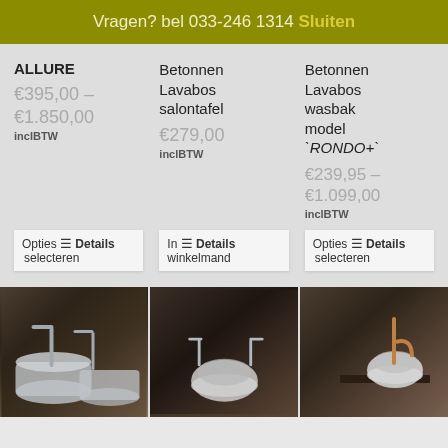Vragen? bel 033-246 1314 Sluiten
ALLURE
€395,00 – €1.850,00 inclBTW
Opties Details selecteren
Betonnen Lavabos salontafel
€279,00 inclBTW
In winkelmand Details
Betonnen Lavabos wasbak model 'RONDO+'
€239,95 – €1.099,00 inclBTW
Opties Details selecteren
[Figure (photo): Three photos of concrete sinks/lavabos in a dark wood bathroom setting]
Product photos showing concrete bathroom sinks